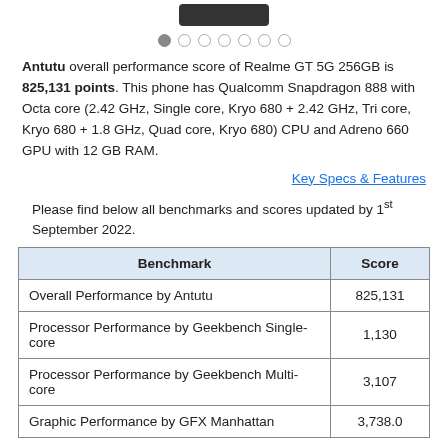[Figure (photo): Bottom portion of a smartphone shown at the top of the page]
Antutu overall performance score of Realme GT 5G 256GB is 825,131 points. This phone has Qualcomm Snapdragon 888 with Octa core (2.42 GHz, Single core, Kryo 680 + 2.42 GHz, Tri core, Kryo 680 + 1.8 GHz, Quad core, Kryo 680) CPU and Adreno 660 GPU with 12 GB RAM.
Key Specs & Features
Please find below all benchmarks and scores updated by 1st September 2022.
| Benchmark | Score |
| --- | --- |
| Overall Performance by Antutu | 825,131 |
| Processor Performance by Geekbench Single-core | 1,130 |
| Processor Performance by Geekbench Multi-core | 3,107 |
| Graphic Performance by GFX Manhattan | 3,738.0 |